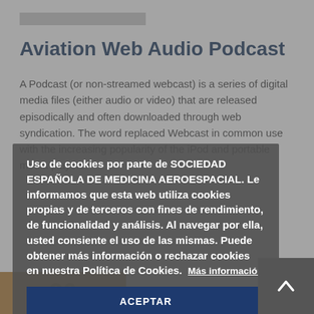Aviation Web Audio Podcast
A Podcast (or non-streamed webcast) is a series of digital media files (either audio or video) that are released episodically and often downloaded through web syndication. The word replaced Webcast in common use with the increasing popularity of the iPod and portable media players.
Uso de cookies por parte de SOCIEDAD ESPAÑOLA DE MEDICINA AEROESPACIAL. Le informamos que esta web utiliza cookies propias y de terceros con fines de rendimiento, de funcionalidad y análisis. Al navegar por ella, usted consiente el uso de las mismas. Puede obtener más información o rechazar cookies en nuestra Política de Cookies. Más información
ACEPTAR